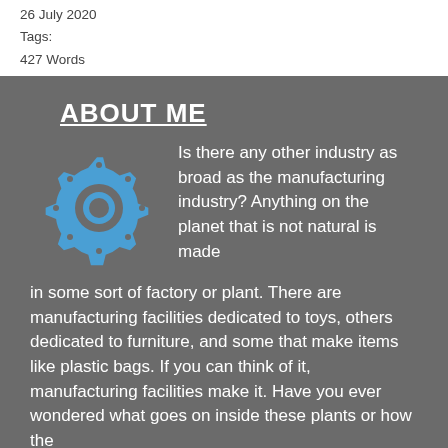26 July 2020
Tags:
427 Words
ABOUT ME
[Figure (illustration): Blue gear/cog icon on dark gray background]
Is there any other industry as broad as the manufacturing industry? Anything on the planet that is not natural is made in some sort of factory or plant. There are manufacturing facilities dedicated to toys, others dedicated to furniture, and some that make items like plastic bags. If you can think of it, manufacturing facilities make it. Have you ever wondered what goes on inside these plants or how the